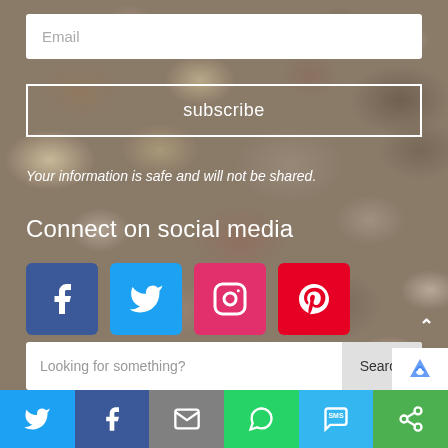Email
subscribe
Your information is safe and will not be shared.
Connect on social media
[Figure (infographic): Row of four social media icon buttons: Facebook (dark blue), Twitter (light blue), Instagram (red-pink), Pinterest (red)]
Looking for something?
Search
[Figure (infographic): Bottom share bar with six icons: Twitter, Facebook, Email, WhatsApp, SMS, and another sharing icon, each in colored tiles]